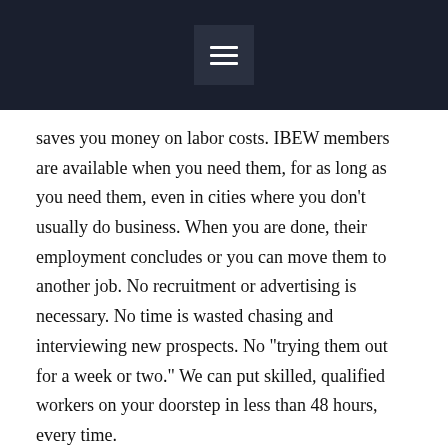saves you money on labor costs. IBEW members are available when you need them, for as long as you need them, even in cities where you don’t usually do business. When you are done, their employment concludes or you can move them to another job. No recruitment or advertising is necessary. No time is wasted chasing and interviewing new prospects. No “trying them out for a week or two.” We can put skilled, qualified workers on your doorstep in less than 48 hours, every time.
Training – We spend more than $167,000 a year training contractor employees in trade-related and safety areas. Every union employee you hire will save you the hassle and expense (typically between $500 and $2000...